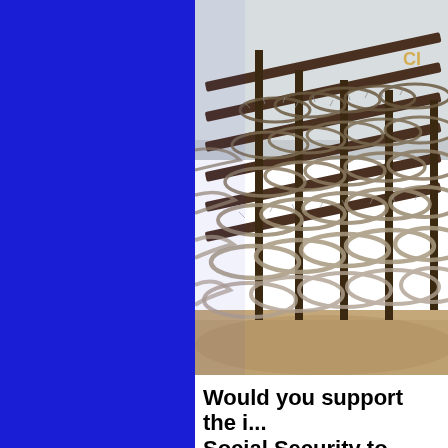[Figure (photo): Photo of a border wall covered in multiple rows of concertina/razor wire coils stacked against a metal fence structure, with sandy ground below and overcast sky above. Text 'CI' partially visible at top right corner of the fence.]
Would you support the i... Social Security to illegal...